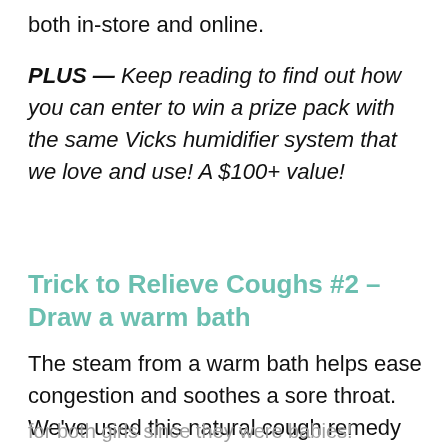both in-store and online.
PLUS — Keep reading to find out how you can enter to win a prize pack with the same Vicks humidifier system that we love and use! A $100+ value!
Trick to Relieve Coughs #2 – Draw a warm bath
The steam from a warm bath helps ease congestion and soothes a sore throat. We've used this natural cough remedy
for both girls since they were babies!